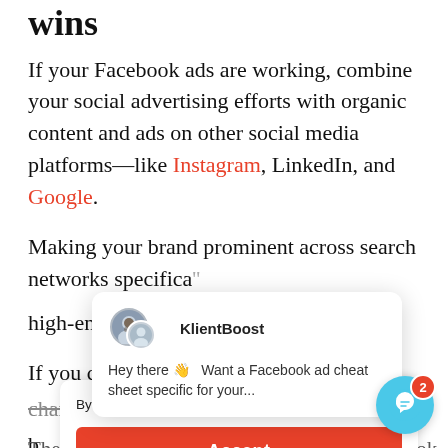wins
If your Facebook ads are working, combine your social advertising efforts with organic content and ads on other social media platforms—like Instagram, LinkedIn, and Google.
Making your brand prominent across search networks specifically high-engagement a...
If you can leverage channels, you can increase...b...
[Figure (screenshot): KlientBoost chat popup notification with avatar group, showing message: Hey there 👋 Want a Facebook ad cheat sheet specific for your...]
By using KlientBoost, you agree to our Cookie Policy
Accept
Then a whole wave of highly-engaged Facebook